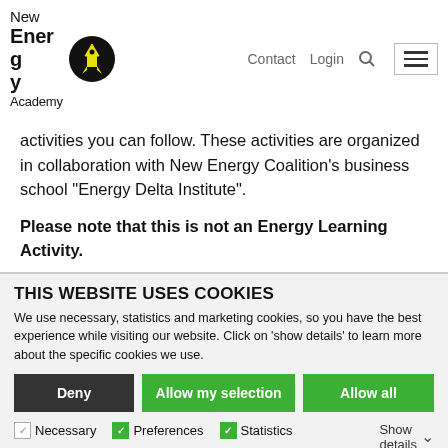[Figure (logo): New Energy Academy logo with rocket icon in black circle]
Contact  Login  🔍  [hamburger menu]
activities you can follow. These activities are organized in collaboration with New Energy Coalition's business school "Energy Delta Institute".
Please note that this is not an Energy Learning Activity.
THIS WEBSITE USES COOKIES
We use necessary, statistics and marketing cookies, so you have the best experience while visiting our website. Click on 'show details' to learn more about the specific cookies we use.
Deny | Allow my selection | Allow all
Necessary  Preferences  Statistics  Show details  Marketing